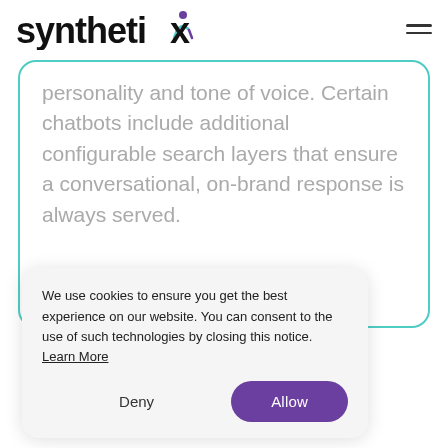synthetix [logo]
personality and tone of voice. Certain chatbots include additional configurable search layers that ensure a conversational, on-brand response is always served.
We use cookies to ensure you get the best experience on our website. You can consent to the use of such technologies by closing this notice. Learn More
Deny
Allow